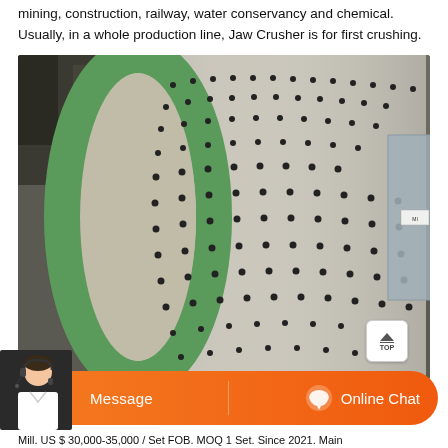mining, construction, railway, water conservancy and chemical. Usually, in a whole production line, Jaw Crusher is for first crushing.
[Figure (photo): Close-up industrial photograph of a large cylindrical ball mill drum with bolt patterns arranged in rows along its surface. The cylinder has a greenish end cap/ring visible on the left side. The machine is situated inside an industrial facility with concrete structures visible in the background.]
[Figure (screenshot): Customer service chat bar with an orange gradient button bar showing 'Message' on the left and 'Online Chat' with a chat bubble icon on the right. A female customer service representative in a white shirt with a headset is shown in the bottom left corner.]
Mill. US $ 30,000-35,000 / Set FOB. MOQ 1 Set. Since 2021. Main